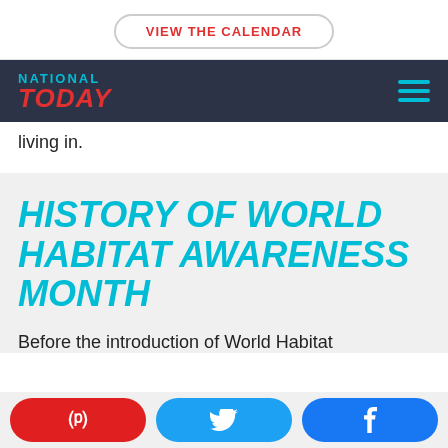VIEW THE CALENDAR
[Figure (logo): National Today logo with navigation bar]
living in.
HISTORY OF WORLD HABITAT AWARENESS MONTH
Before the introduction of World Habitat